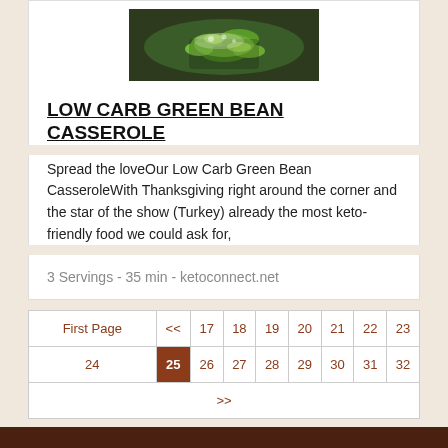[Figure (photo): Food photo showing green bean casserole dish in a dark bowl]
LOW CARB GREEN BEAN CASSEROLE
Spread the loveOur Low Carb Green Bean CasseroleWith Thanksgiving right around the corner and the star of the show (Turkey) already the most keto-friendly food we could ask for,
3 Servings - 35 min - ketoconnect.net
| First Page | << | 17 | 18 | 19 | 20 | 21 | 22 | 23 |
| --- | --- | --- | --- | --- | --- | --- | --- | --- |
| 24 | 25 | 26 | 27 | 28 | 29 | 30 | 31 | 32 | >> |
| 24 | 25 | 26 | 27 | 28 | 29 | 30 | 31 | 32 | > |
About   Blog   Facebook   Instagram   Twitter   Favorites   Terms   Privacy   Knowledgebase   Browse Coupons